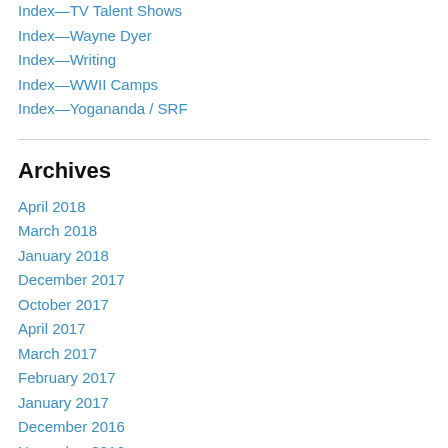Index—TV Talent Shows
Index—Wayne Dyer
Index—Writing
Index—WWII Camps
Index—Yogananda / SRF
Archives
April 2018
March 2018
January 2018
December 2017
October 2017
April 2017
March 2017
February 2017
January 2017
December 2016
November 2016
November 2015